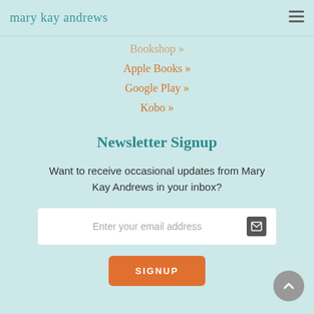mary kay andrews
Bookshop »
Apple Books »
Google Play »
Kobo »
Newsletter Signup
Want to receive occasional updates from Mary Kay Andrews in your inbox?
Enter your email address
SIGNUP